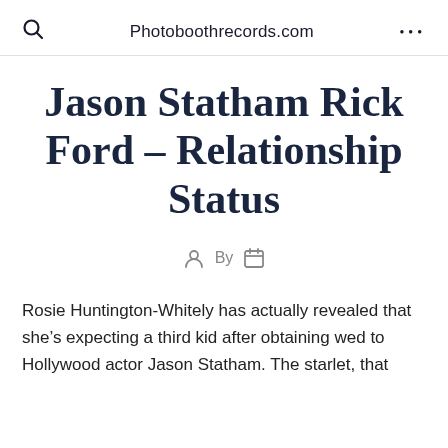Photoboothrecords.com
Jason Statham Rick Ford – Relationship Status
By
Rosie Huntington-Whitely has actually revealed that she's expecting a third kid after obtaining wed to Hollywood actor Jason Statham. The starlet, that